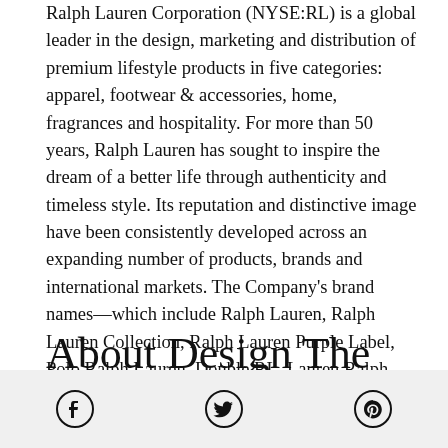Ralph Lauren Corporation (NYSE:RL) is a global leader in the design, marketing and distribution of premium lifestyle products in five categories: apparel, footwear & accessories, home, fragrances and hospitality. For more than 50 years, Ralph Lauren has sought to inspire the dream of a better life through authenticity and timeless style. Its reputation and distinctive image have been consistently developed across an expanding number of products, brands and international markets. The Company's brand names—which include Ralph Lauren, Ralph Lauren Collection, Ralph Lauren Purple Label, Polo Ralph Lauren, Double RL, Lauren Ralph Lauren, Polo Ralph Lauren Children and Chaps, among others—constitute one of the world's most widely recognized families of consumer brands. For more information, go to https://corporate.ralphlauren.com.
About Design The Change
[Figure (other): Social media icons: Facebook, Twitter, Pinterest in a grey footer bar]